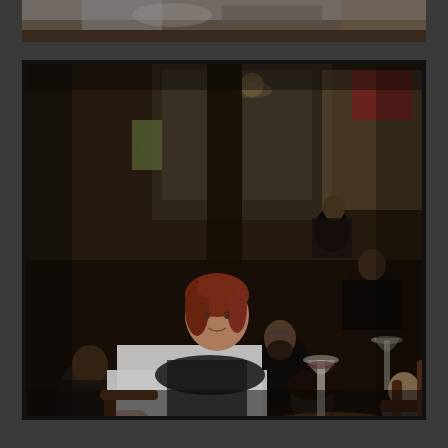[Figure (illustration): Top strip showing a partial view of a painting — dark, moody tones with indistinct figures and sky, appearing to be the upper portion of an artwork.]
[Figure (illustration): A realistic oil painting of a busy Parisian café scene. In the foreground, a young woman with red hair wearing a white long-sleeve top and black scarf sits at a small round wooden table with a wine glass in front of her. Behind her, multiple patrons sit at tables — a bearded man in a black jacket rests his chin on his hand, two women converse in the background, and other figures are visible. The scene has warm, dark, atmospheric lighting typical of European café paintings.]